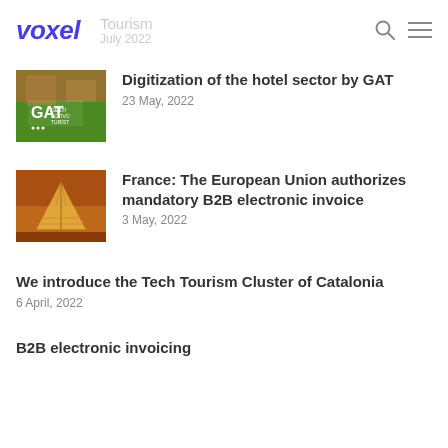voxel | Tourism · July 2022
[Figure (photo): GAT hotel management company logo over building with purple flowers]
Digitization of the hotel sector by GAT
23 May, 2022
[Figure (photo): Louvre pyramid illuminated at night in golden light]
France: The European Union authorizes mandatory B2B electronic invoice
3 May, 2022
We introduce the Tech Tourism Cluster of Catalonia
6 April, 2022
B2B electronic invoicing